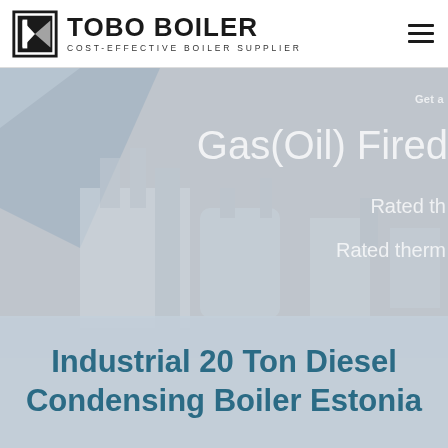TOBO BOILER — COST-EFFECTIVE BOILER SUPPLIER
[Figure (screenshot): Hero banner with industrial boiler imagery (gray/blue tones), showing partial text: Gas(Oil) Fired, Rated th..., Rated ther... overlaid on right side]
Industrial 20 Ton Diesel Condensing Boiler Estonia